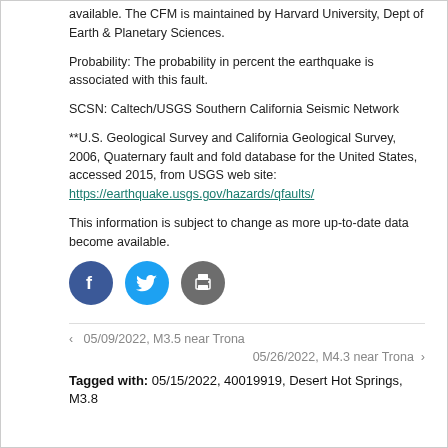available. The CFM is maintained by Harvard University, Dept of Earth & Planetary Sciences.
Probability: The probability in percent the earthquake is associated with this fault.
SCSN: Caltech/USGS Southern California Seismic Network
**U.S. Geological Survey and California Geological Survey, 2006, Quaternary fault and fold database for the United States, accessed 2015, from USGS web site: https://earthquake.usgs.gov/hazards/qfaults/
This information is subject to change as more up-to-date data become available.
[Figure (other): Social sharing icons: Facebook, Twitter, Print]
‹  05/09/2022, M3.5 near Trona
05/26/2022, M4.3 near Trona  ›
Tagged with: 05/15/2022, 40019919, Desert Hot Springs, M3.8